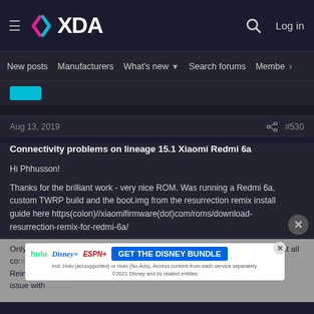XDA Forums header with logo, search, and Log in
New posts  Manufacturers  What's new  Search forums  Members >
Aug 13, 2019  #530
Connectivity problems on lineage 15.1 Xiaomi Redmi 6a
Hi Phhusson!

Thanks for the brilliant work - very nice ROM. Was running a Redmi 6a, custom TWRP build and the boot.img from the resurrection remix install guide here https(colon)//xiaomifirmware(dot)com/roms/download-resurrection-remix-for-redmi-6a/
Only issue I have - initially worked perfectly, but 1 week into use, suddenly lost all co... Reinstalling ... maybe an issue with ...
[Figure (screenshot): Disney Bundle advertisement banner: Hulu, Disney+, ESPN+ logos with 'GET THE DISNEY BUNDLE' call to action button and fine print about Hulu ad-supported or no ads plans, with close/X button]